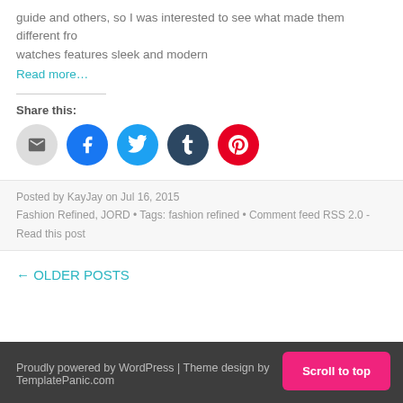guide and others, so I was interested to see what made them different fro… watches features sleek and modern
Read more…
[Figure (other): Social share icons: email, Facebook, Twitter, Tumblr, Pinterest]
Posted by KayJay on Jul 16, 2015
Fashion Refined, JORD • Tags: fashion refined • Comment feed RSS 2.0 - Read this post…
← OLDER POSTS
Proudly powered by WordPress | Theme design by TemplatePanic.com
Scroll to top